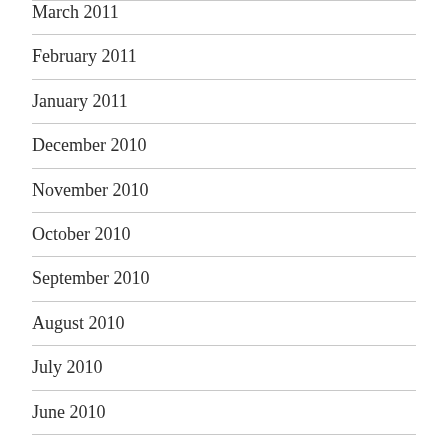March 2011
February 2011
January 2011
December 2010
November 2010
October 2010
September 2010
August 2010
July 2010
June 2010
May 2010
April 2010